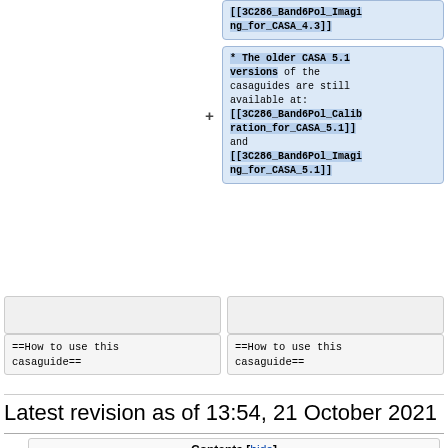[[3C286_Band6Pol_Imaging_for_CASA_4.3]]
* The older CASA 5.1 versions of the casaguides are still available at: [[3C286_Band6Pol_Calibration_for_CASA_5.1]] and [[3C286_Band6Pol_Imaging_for_CASA_5.1]]
==How to use this casaguide==
==How to use this casaguide==
Latest revision as of 13:54, 21 October 2021
| Contents [hide] |
| --- |
| 1. Science Target Overview |